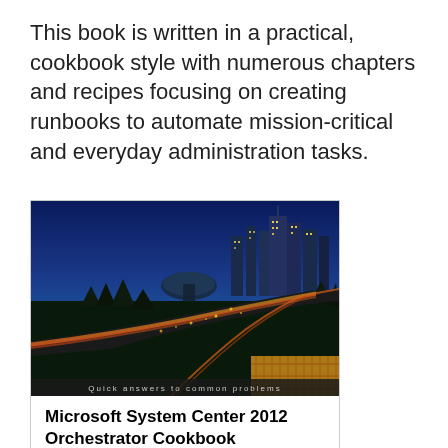This book is written in a practical, cookbook style with numerous chapters and recipes focusing on creating runbooks to automate mission-critical and everyday administration tasks.
[Figure (photo): Book cover of Microsoft System Center 2012 Orchestrator Cookbook showing a nighttime cityscape with highway light trails and a city skyline. Text at the bottom reads 'Quick answers to common problems'.]
Microsoft System Center 2012 Orchestrator Cookbook
Automate mission-critical tasks with this practical, real-world